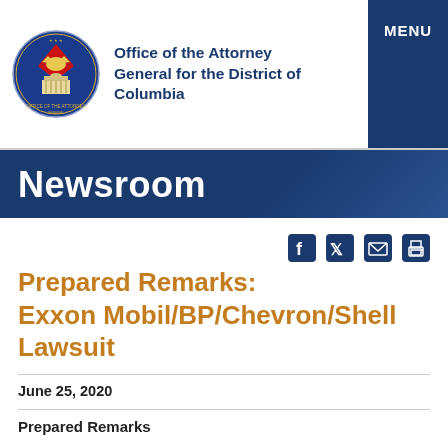[Figure (logo): Seal of the Office of the Attorney General for the District of Columbia — circular blue seal with red diamond, eagle, and building]
Office of the Attorney General for the District of Columbia
MENU
Newsroom
Prepared Remarks: Exxon Mobil/BP/Chevron/Shell Lawsuit
June 25, 2020
Prepared Remarks